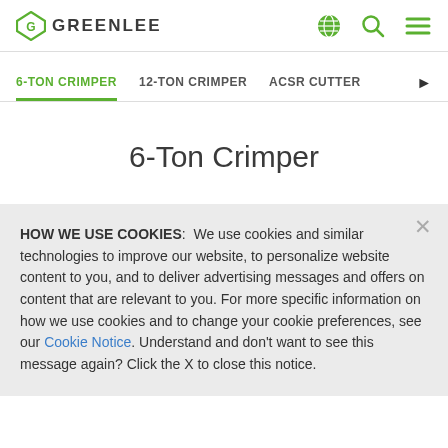GREENLEE
6-TON CRIMPER | 12-TON CRIMPER | ACSR CUTTER
6-Ton Crimper
HOW WE USE COOKIES: We use cookies and similar technologies to improve our website, to personalize website content to you, and to deliver advertising messages and offers on content that are relevant to you. For more specific information on how we use cookies and to change your cookie preferences, see our Cookie Notice. Understand and don't want to see this message again? Click the X to close this notice.